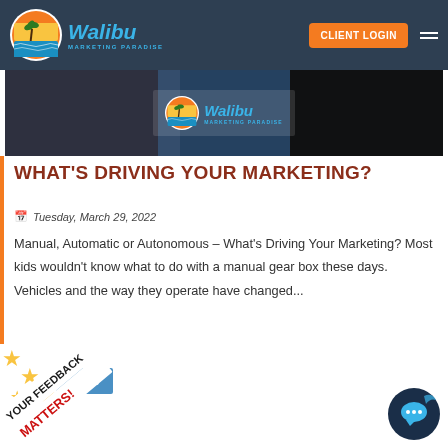Walibu Marketing Paradise — CLIENT LOGIN
[Figure (screenshot): Blog post header image showing Walibu Marketing Paradise logo on dark background]
WHAT'S DRIVING YOUR MARKETING?
Tuesday, March 29, 2022
Manual, Automatic or Autonomous – What's Driving Your Marketing? Most kids wouldn't know what to do with a manual gear box these days. Vehicles and the way they operate have changed...
[Figure (infographic): Your Feedback Matters badge with gold stars, diagonal orientation, red and black text]
[Figure (screenshot): Chat support widget button, circular dark blue icon at bottom right]